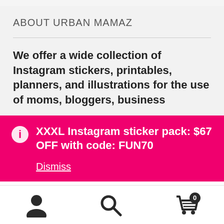ABOUT URBAN MAMAZ
We offer a wide collection of Instagram stickers, printables, planners, and illustrations for the use of moms, bloggers, business
XXXL Instagram sticker pack: $67 OFF with code: FUN70
Dismiss
[Figure (screenshot): Bottom navigation bar with user/account icon, search icon, and cart icon with badge showing 0]